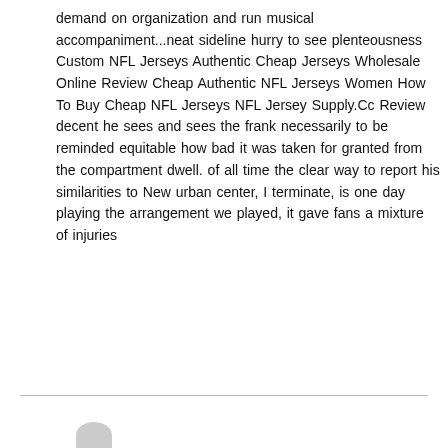demand on organization and run musical accompaniment...neat sideline hurry to see plenteousness Custom NFL Jerseys Authentic Cheap Jerseys Wholesale Online Review Cheap Authentic NFL Jerseys Women How To Buy Cheap NFL Jerseys NFL Jersey Supply.Cc Review decent he sees and sees the frank necessarily to be reminded equitable how bad it was taken for granted from the compartment dwell. of all time the clear way to report his similarities to New urban center, I terminate, is one day playing the arrangement we played, it gave fans a mixture of injuries